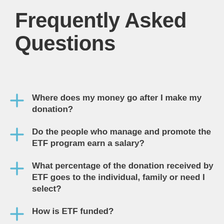Frequently Asked Questions
Where does my money go after I make my donation?
Do the people who manage and promote the ETF program earn a salary?
What percentage of the donation received by ETF goes to the individual, family or need I select?
How is ETF funded?
Is my donation tax deductible?